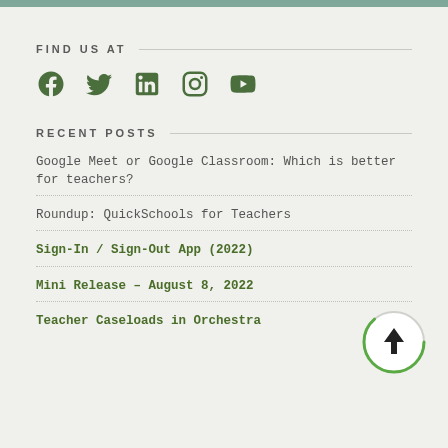FIND US AT
[Figure (illustration): Social media icons: Facebook, Twitter, LinkedIn, Instagram, YouTube in dark green color]
RECENT POSTS
Google Meet or Google Classroom: Which is better for teachers?
Roundup: QuickSchools for Teachers
Sign-In / Sign-Out App (2022)
Mini Release – August 8, 2022
Teacher Caseloads in Orchestra